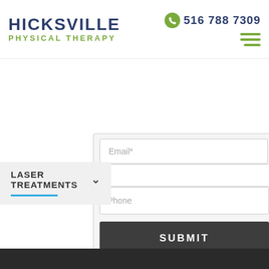[Figure (logo): Hicksville Physical Therapy logo with phone number 516 788 7309 and hamburger menu icon]
LASER TREATMENTS
Email*
Phone
SUBMIT
We will contact you soon to discuss availability